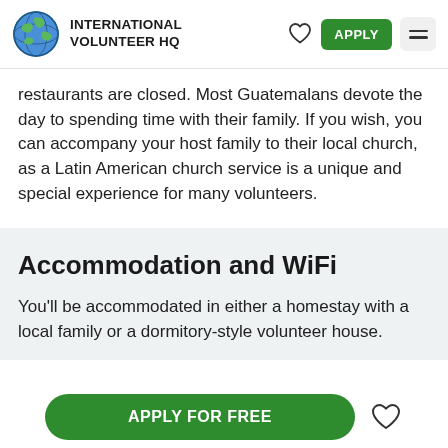INTERNATIONAL VOLUNTEER HQ
restaurants are closed. Most Guatemalans devote the day to spending time with their family. If you wish, you can accompany your host family to their local church, as a Latin American church service is a unique and special experience for many volunteers.
Accommodation and WiFi
You'll be accommodated in either a homestay with a local family or a dormitory-style volunteer house.